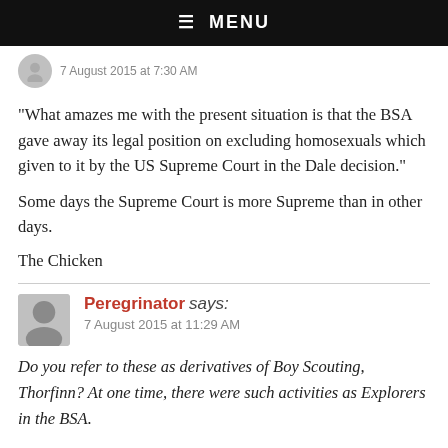☰ MENU
7 August 2015 at 7:30 AM
“What amazes me with the present situation is that the BSA gave away its legal position on excluding homosexuals which given to it by the US Supreme Court in the Dale decision.”
Some days the Supreme Court is more Supreme than in other days.
The Chicken
Peregrinator says:
7 August 2015 at 11:29 AM
Do you refer to these as derivatives of Boy Scouting, Thorfinn? At one time, there were such activities as Explorers in the BSA.